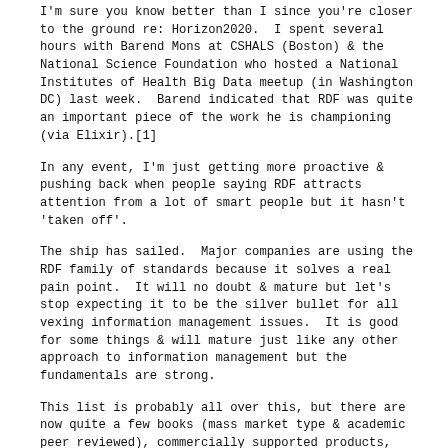I'm sure you know better than I since you're closer to the ground re: Horizon2020.  I spent several hours with Barend Mons at CSHALS (Boston) & the National Science Foundation who hosted a National Institutes of Health Big Data meetup (in Washington DC) last week.  Barend indicated that RDF was quite an important piece of the work he is championing (via Elixir).[1]
In any event, I'm just getting more proactive & pushing back when people saying RDF attracts attention from a lot of smart people but it hasn't 'taken off'.
The ship has sailed.  Major companies are using the RDF family of standards because it solves a real pain point.  It will no doubt & mature but let's stop expecting it to be the silver bullet for all vexing information management issues.  It is good for some things & will mature just like any other approach to information management but the fundamentals are strong.
This list is probably all over this, but there are now quite a few books (mass market type & academic peer reviewed), commercially supported products, open source projects, and many big names quietly using RDF.[2]
"A rising tide lifts all boats"